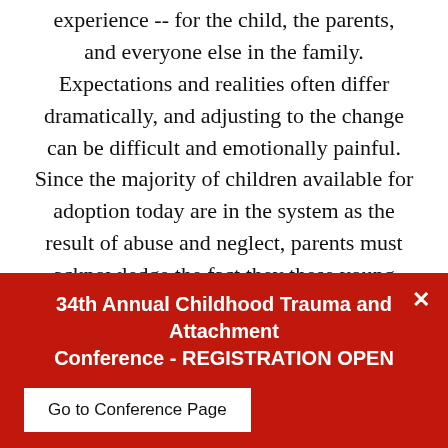experience -- for the child, the parents, and everyone else in the family. Expectations and realities often differ dramatically, and adjusting to the change can be difficult and emotionally painful. Since the majority of children available for adoption today are in the system as the result of abuse and neglect, parents must acknowledge the fact they these young innocents will carry their trauma with them into their new homes. A willingness to address the not-so-easy, didn't-see-that
34th Annual Childhood Trauma and Attachment Conference - REGISTRATION OPEN
Go to Conference Page